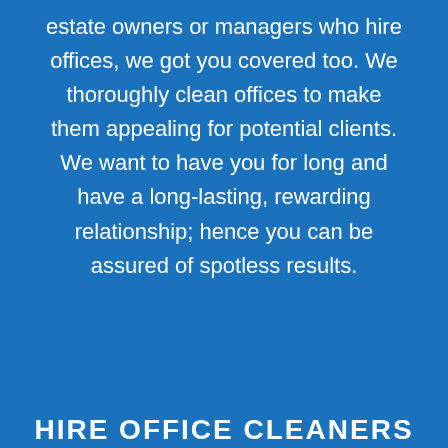estate owners or managers who hire offices, we got you covered too. We thoroughly clean offices to make them appealing for potential clients. We want to have you for long and have a long-lasting, rewarding relationship; hence you can be assured of spotless results.
HIRE OFFICE CLEANERS